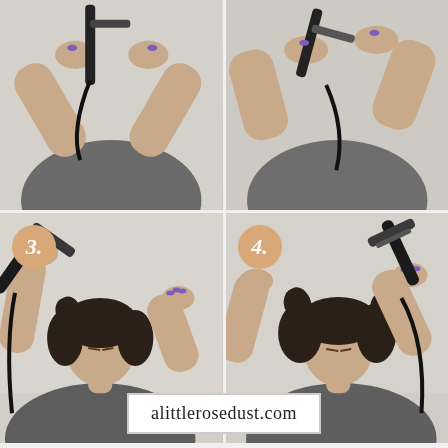[Figure (photo): Four-panel instructional photo collage showing a woman with short dark hair using a curling iron on her hair. Top-left (step 1): close-up of hands holding curling iron. Top-right (step 2): close-up of hands holding curling iron from different angle. Bottom-left (step 3): woman curling her hair, numbered badge '3.' in top-left corner. Bottom-right (step 4): woman with released curls, numbered badge '4.' in top-left corner.]
alittlerosedust.com